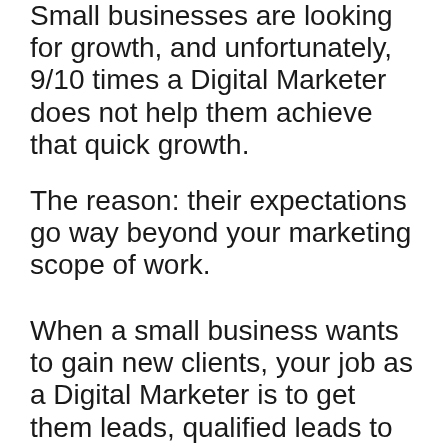Small businesses are looking for growth, and unfortunately, 9/10 times a Digital Marketer does not help them achieve that quick growth.
The reason: their expectations go way beyond your marketing scope of work.
When a small business wants to gain new clients, your job as a Digital Marketer is to get them leads, qualified leads to be specific.